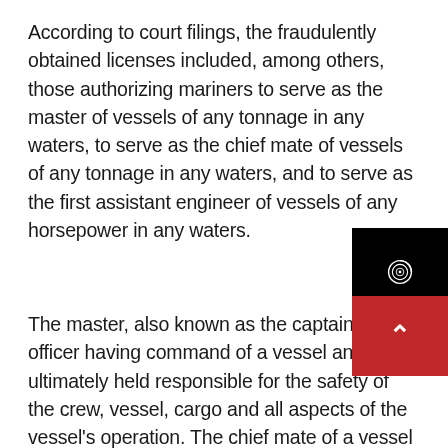According to court filings, the fraudulently obtained licenses included, among others, those authorizing mariners to serve as the master of vessels of any tonnage in any waters, to serve as the chief mate of vessels of any tonnage in any waters, and to serve as the first assistant engineer of vessels of any horsepower in any waters.
The master, also known as the captain, is the officer having command of a vessel and is ultimately held responsible for the safety of the crew, vessel, cargo and all aspects of the vessel's operation. The chief mate of a vessel is the officer in charge of the deck department and is typically is responsible for navigation, keeping watch on the bridge, cargo, stability calculations, being the medical person in charge, and assuming command